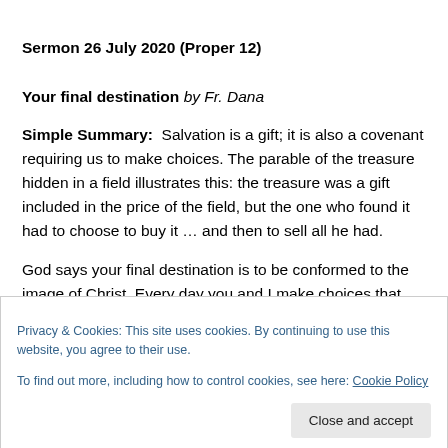Sermon 26 July 2020 (Proper 12)
Your final destination by Fr. Dana
Simple Summary: Salvation is a gift; it is also a covenant requiring us to make choices. The parable of the treasure hidden in a field illustrates this: the treasure was a gift included in the price of the field, but the one who found it had to choose to buy it … and then to sell all he had.
God says your final destination is to be conformed to the image of Christ. Every day you and I make choices that
Privacy & Cookies: This site uses cookies. By continuing to use this website, you agree to their use.
To find out more, including how to control cookies, see here: Cookie Policy
Close and accept